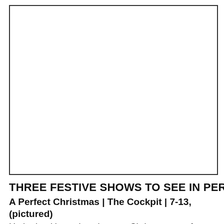[Figure (photo): A large image placeholder box (white/empty with border), likely a photo related to the article about festive shows.]
THREE FESTIVE SHOWS TO SEE IN PER
A Perfect Christmas | The Cockpit | 7-13, (pictured)
Ho ho ho, it's getting closer to Christmas an of you will be making the most of it - to mak COVID misery - so let's start with some fest you can actually attend in person. And whe than with 'A Perfect Christmas'? "How we a from Christmas A for those who have not